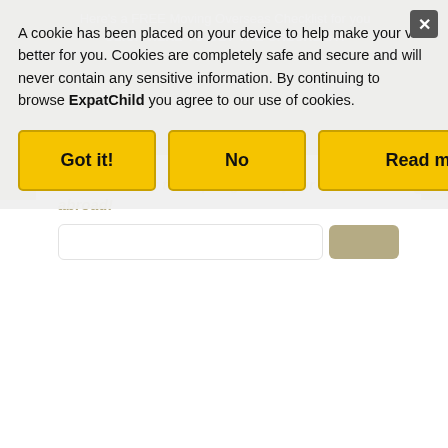[Figure (screenshot): Background of a webpage with an olive/dark yellow banner at the top showing 'Here's a FREE Moving Overseas Checklist for you' and 'CLICK HERE TO GET THE CHECKLIST!' text, with a white popup card below showing 'Free checklist to help organise your move abroad!' and an email input field with a submit button. A close X button is visible top right and mid right.]
A cookie has been placed on your device to help make your visit better for you. Cookies are completely safe and secure and will never contain any sensitive information. By continuing to browse ExpatChild you agree to our use of cookies.
Got it!
No
Read more